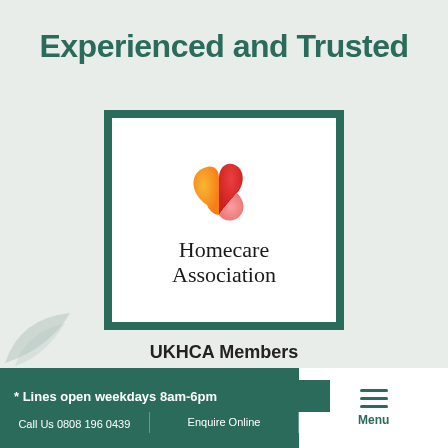Experienced and Trusted
[Figure (logo): Homecare Association logo: two overlapping heart shapes in orange, red and pink gradient above the text 'Homecare Association' in serif font, set within a dark teal bordered white box]
UKHCA Members
The United Kingdom
Association Ltd
* Lines open weekdays 8am-6pm
Call Us 0808 196 0439   Enquire Online   Menu